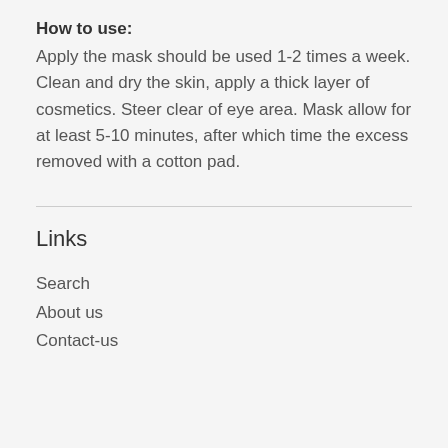How to use:
Apply the mask should be used 1-2 times a week. Clean and dry the skin, apply a thick layer of cosmetics. Steer clear of eye area. Mask allow for at least 5-10 minutes, after which time the excess removed with a cotton pad.
Links
Search
About us
Contact-us